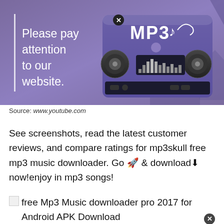[Figure (screenshot): Advertisement banner with purple gradient background. Left side shows text 'Please pay attention to our website.' with white vertical bar. Right side shows an MP3 player/boombox device illustration with 'MP3' text and musical note, along with a close button (X in circle).]
Source: www.youtube.com
See screenshots, read the latest customer reviews, and compare ratings for mp3skull free mp3 music downloader. Go 🚀 & download⬇ now!enjoy in mp3 songs!
free Mp3 Music downloader pro 2017 for Android APK Download